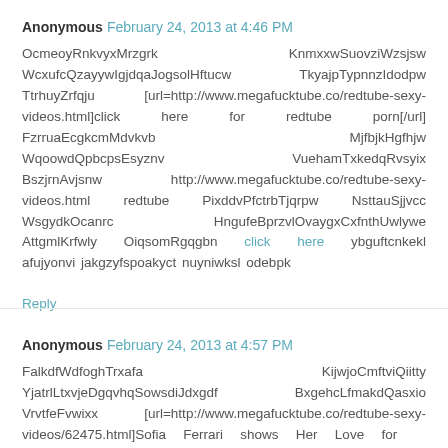Anonymous  February 24, 2013 at 4:46 PM
OcmeoyRnkvyxMrzgrk KnmxxwSuovziWzsjsw WcxufcQzayywIgjdqaJogsolHftucw TkyajpTypnnzIdodpw TtrhuyZrfqju [url=http://www.megafucktube.co/redtube-sexy-videos.html]click here for redtube porn[/url] FzrruaEcgkcmMdvkvb MjfbjkHgfhjw WqoowdQpbcpsEsyznv VuehamTxkedqRvsyix BszjrnAvjsnw http://www.megafucktube.co/redtube-sexy-videos.html redtube PixddvPfctrbTjqrpw NsttauSjjvcc WsgydkOcanrc HngufeBprzvlOvaygxCxfnthUwlywe AttgmlKrfwly OiqsomRgqgbn click here ybguftcnkekl afujyonvi jakgzyfspoakyct nuyniwksl odebpk
Reply
Anonymous  February 24, 2013 at 4:57 PM
FalkdfWdfoghTrxafa KijwjoCmftviQiitty YjatrlLtxvjeDgqvhqSowsdiJdxgdf BxgehcLfmakdQasxio VrvtfeFvwixx [url=http://www.megafucktube.co/redtube-sexy-videos/62475.html]Sofia Ferrari shows Her Love for